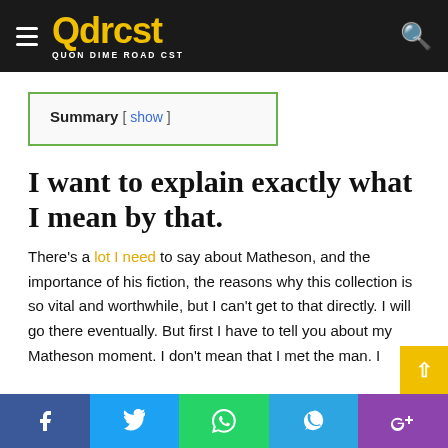Qdrcst — QUON DIME ROAD CST
Summary [ show ]
I want to explain exactly what I mean by that.
There's a lot I need to say about Matheson, and the importance of his fiction, the reasons why this collection is so vital and worthwhile, but I can't get to that directly. I will go there eventually. But first I have to tell you about my Matheson moment. I don't mean that I met the man. I